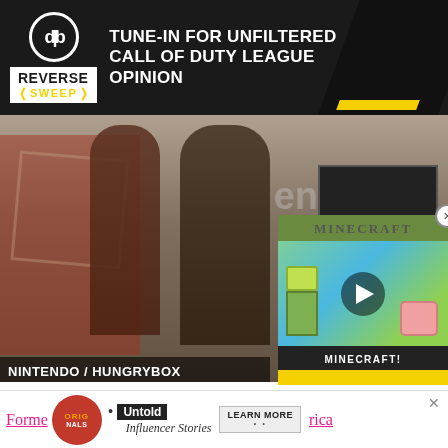[Figure (other): Advertisement banner for 'Reverse Sweep' podcast/show - black background with logo and text: TUNE-IN FOR UNFILTERED CALL OF DUTY LEAGUE OPINION]
[Figure (photo): Photo of two people on a Nintendo stage, with caption NINTENDO / HUNGRYBOX]
[Figure (other): Minecraft advertisement overlay showing characters and play button with text MINECRAFT!]
During a recent book signing, Nintendo of America Reggie 2015 loss to Hungrybox in Sm Nintendo World Championships.
[Figure (other): Bottom advertisement bar: Originals logo, Untold Influencer Stories, LEARN MORE button]